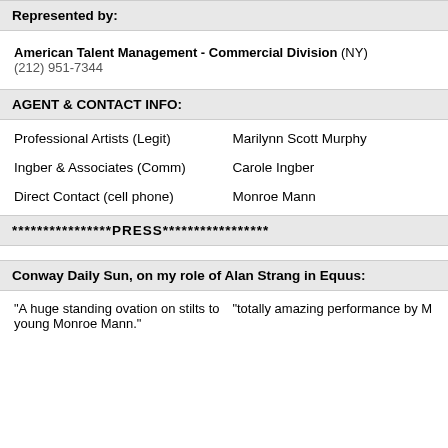Represented by:
American Talent Management - Commercial Division (NY)
(212) 951-7344
AGENT & CONTACT INFO:
| Professional Artists (Legit) | Marilynn Scott Murphy |
| Ingber & Associates (Comm) | Carole Ingber |
| Direct Contact (cell phone) | Monroe Mann |
****************PRESS*****************
Conway Daily Sun, on my role of Alan Strang in Equus:
"A huge standing ovation on stilts to young Monroe Mann."
"totally amazing performance by M